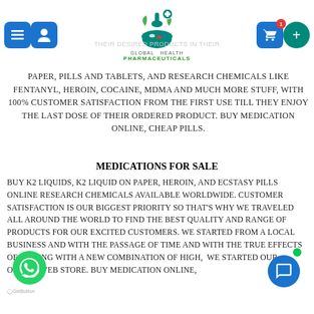[Figure (logo): Global Health Pharmaceuticals logo with mortar and pestle icon and navigation buttons]
PAPER, PILLS AND TABLETS, AND RESEARCH CHEMICALS LIKE FENTANYL, HEROIN, COCAINE, MDMA AND MUCH MORE STUFF, WITH 100% CUSTOMER SATISFACTION FROM THE FIRST USE TILL THEY ENJOY THE LAST DOSE OF THEIR ORDERED PRODUCT. BUY MEDICATION ONLINE, CHEAP PILLS.
MEDICATIONS FOR SALE
BUY K2 LIQUIDS, K2 LIQUID ON PAPER, HEROIN, AND ECSTASY PILLS ONLINE research chemicals available worldwide. CUSTOMER SATISFACTION IS OUR BIGGEST PRIORITY SO THAT'S WHY WE TRAVELED ALL AROUND THE WORLD TO FIND THE BEST QUALITY AND RANGE OF PRODUCTS FOR OUR EXCITED CUSTOMERS. WE STARTED FROM A LOCAL BUSINESS AND WITH THE PASSAGE OF TIME AND WITH THE TRUE EFFECTS OF COMING WITH A NEW COMBINATION OF HIGH, WE STARTED OUR ONLINE WEB STORE. BUY MEDICATION ONLINE,